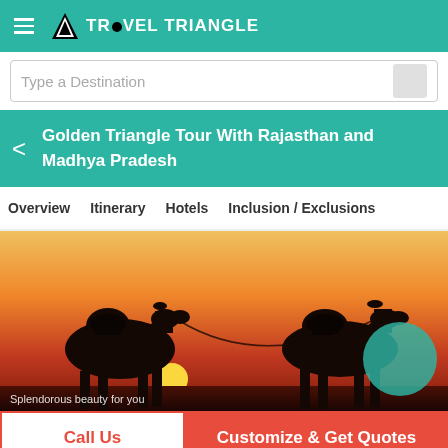TRAVEL TRIANGLE
Type a Destination
Golden Triangle Tour With Rajasthan and Madhya Pradesh
Overview
Itinerary
Hotels
Inclusion / Exclusions
[Figure (photo): Silhouettes of two camels against a vivid orange sunset sky in the desert. Text caption at bottom: 'Splendorous beauty for you']
Call Us
Customize & Get Quotes